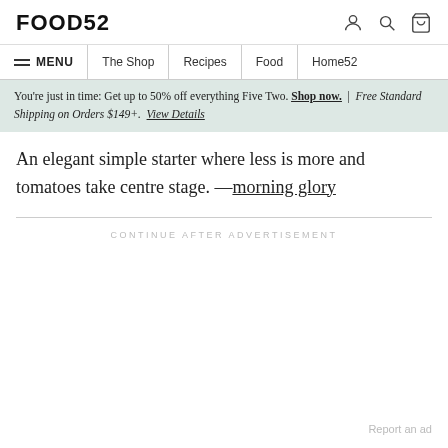FOOD52
MENU | The Shop | Recipes | Food | Home52
You're just in time: Get up to 50% off everything Five Two. Shop now. | Free Standard Shipping on Orders $149+. View Details
An elegant simple starter where less is more and tomatoes take centre stage. —morning glory
CONTINUE AFTER ADVERTISEMENT
Report an ad